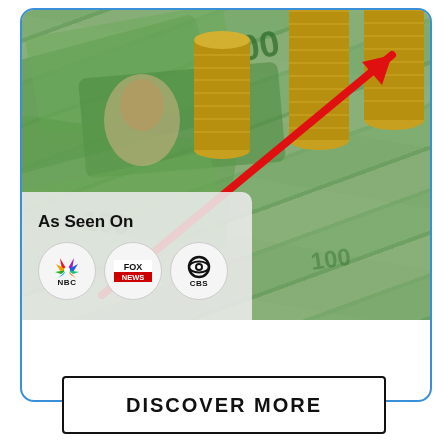[Figure (photo): Photo of stacks of gold coins increasing in height from left to right with a red arrow pointing up-right, overlaid on a background of Australian $100 notes. Lower-left has a semi-transparent panel with 'As Seen On' text and NBC, Fox News, CBS logos.]
As Seen On
[Figure (logo): NBC peacock logo with colorful feathers and 'NBC' text below]
[Figure (logo): Fox News logo in white text on red background with 'FOX NEWS' text]
[Figure (logo): CBS eye logo with 'CBS' text below]
DISCOVER MORE